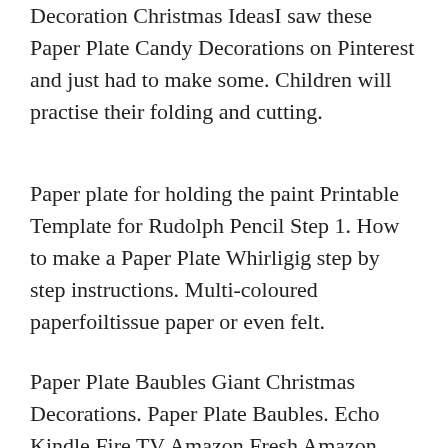Decoration Christmas IdeasI saw these Paper Plate Candy Decorations on Pinterest and just had to make some. Children will practise their folding and cutting.
Paper plate for holding the paint Printable Template for Rudolph Pencil Step 1. How to make a Paper Plate Whirligig step by step instructions. Multi-coloured paperfoiltissue paper or even felt.
Paper Plate Baubles Giant Christmas Decorations. Paper Plate Baubles. Echo Kindle Fire TV Amazon Fresh Amazon Basics Prime